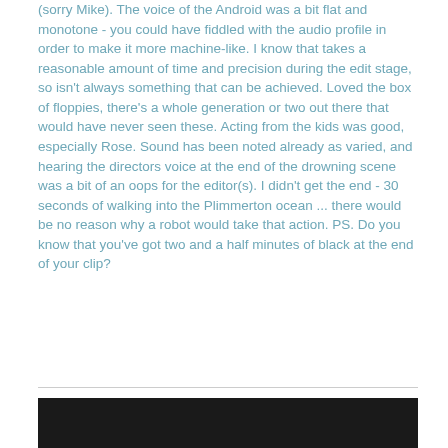(sorry Mike). The voice of the Android was a bit flat and monotone - you could have fiddled with the audio profile in order to make it more machine-like. I know that takes a reasonable amount of time and precision during the edit stage, so isn't always something that can be achieved. Loved the box of floppies, there's a whole generation or two out there that would have never seen these. Acting from the kids was good, especially Rose. Sound has been noted already as varied, and hearing the directors voice at the end of the drowning scene was a bit of an oops for the editor(s). I didn't get the end - 30 seconds of walking into the Plimmerton ocean ... there would be no reason why a robot would take that action. PS. Do you know that you've got two and a half minutes of black at the end of your clip?
[Figure (photo): Dark image, partially visible at bottom of the page]